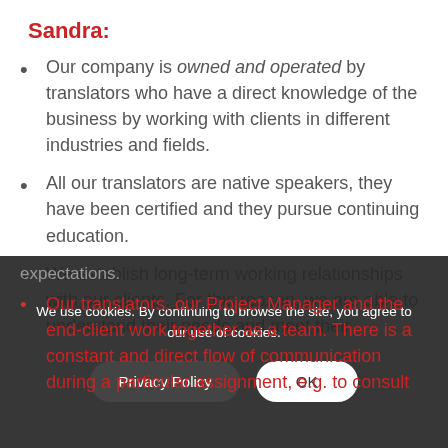Sandra:
Our company is owned and operated by translators who have a direct knowledge of the business by working with clients in different industries and fields.
All our translators are native speakers, they have been certified and they pursue continuing education.
We establish long-term working relationships with our clients. For this reason, we are able to understand their needs and meet their expectations.
Our translators, our Project Manager and the end-client work together as a team. There is a constant and direct flow of communication during a particular assignment, e.g. to consult
We use cookies. By continuing to browse the site, you agree to our use of cookies.